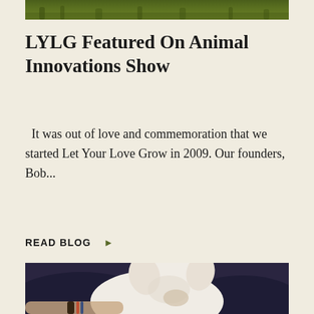[Figure (photo): Top portion of an outdoor green grass photo, cropped at the top of the page]
LYLG Featured On Animal Innovations Show
It was out of love and commemoration that we started Let Your Love Grow in 2009. Our founders, Bob...
READ BLOG ▶
[Figure (photo): A white small dog (Chihuahua) sleeping/resting in the arms of a person wearing a dark navy sweater and a bracelet]